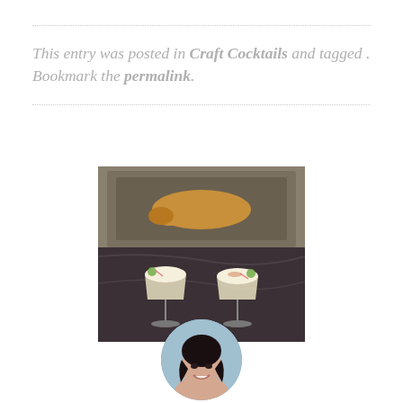This entry was posted in Craft Cocktails and tagged . Bookmark the permalink.
[Figure (photo): Two cocktail glasses with frothy white tops and garnishes on a dark marble surface, with a dog resting on a decorative rug in the background]
[Figure (photo): Circular avatar portrait of a dark-haired woman smiling]